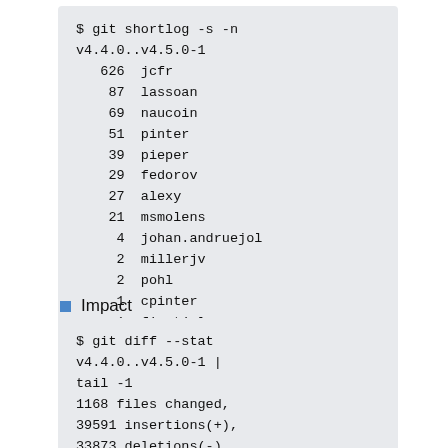[Figure (screenshot): Terminal code block showing git shortlog -s -n v4.4.0..v4.5.0-1 with contributor counts: 626 jcfr, 87 lassoan, 69 naucoin, 51 pinter, 39 pieper, 29 fedorov, 27 alexy, 21 msmolens, 4 johan.andruejol, 2 millerjv, 2 pohl, 1 cpinter, 1 finetjul]
Impact
[Figure (screenshot): Terminal code block showing: $ git diff --stat v4.4.0..v4.5.0-1 | tail -1 
1168 files changed, 39591 insertions(+), 33873 deletions(-)]